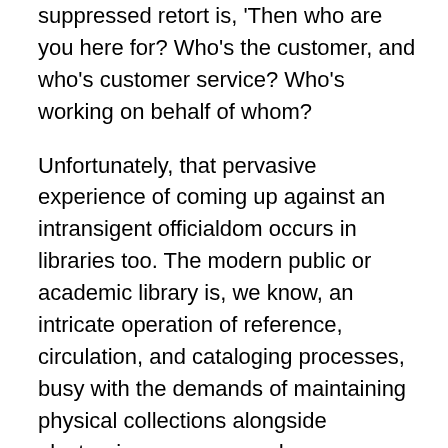suppressed retort is, 'Then who are you here for? Who's the customer, and who's customer service? Who's working on behalf of whom?
Unfortunately, that pervasive experience of coming up against an intransigent officialdom occurs in libraries too. The modern public or academic library is, we know, an intricate operation of reference, circulation, and cataloging processes, busy with the demands of maintaining physical collections alongside electronic resources, and more mundane headaches of staffing, budgets, and scheduling. But what this means for library workers is that library users can end up being considered as at best afterthoughts and at worst nuisances. "We'd have a great system," thinks the harried programmer, Lib Tech, or circulation clerk, "if all these people didn't keep coming in here and screwing everything up." That's an attitude I've encountered too